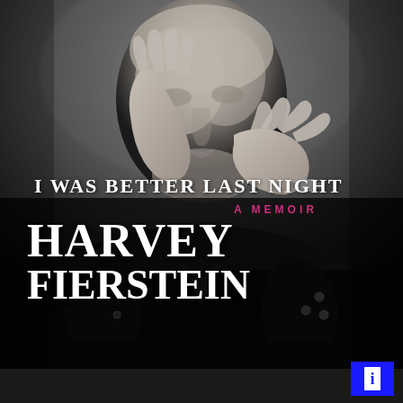[Figure (photo): Black and white photo of Harvey Fierstein, an older man in a dark blazer with his hands raised near his face in a contemplative pose, looking upward. The background is dark gray.]
I WAS BETTER LAST NIGHT
A MEMOIR
HARVEY FIERSTEIN